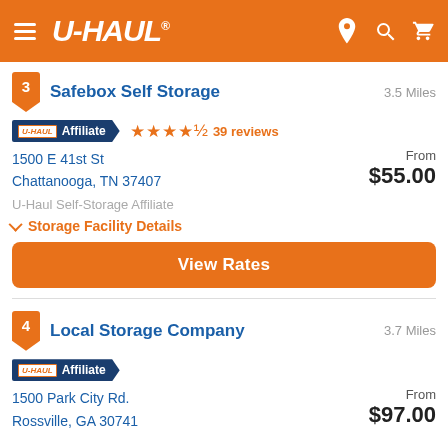[Figure (screenshot): U-Haul mobile app header with orange background, hamburger menu, U-HAUL logo, and location/search/cart icons]
3 Safebox Self Storage — 3.5 Miles
U-HAUL Affiliate — 4.5 stars — 39 reviews
1500 E 41st St
Chattanooga, TN 37407
From $55.00
U-Haul Self-Storage Affiliate
Storage Facility Details
View Rates
4 Local Storage Company — 3.7 Miles
U-HAUL Affiliate
1500 Park City Rd.
Rossville, GA 30741
From $97.00